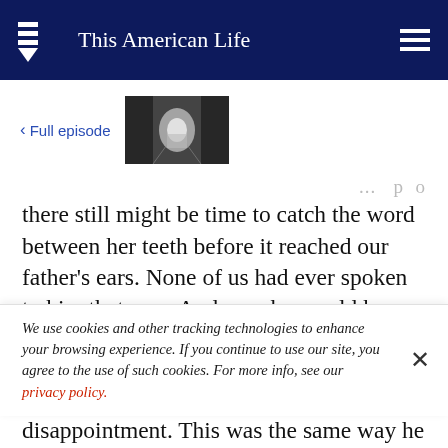This American Life
< Full episode
[Figure (photo): Black and white photo of a tree-lined avenue leading to a building with lights]
there still might be time to catch the word between her teeth before it reached our father's ears. None of us had ever spoken to him that way. And now he would have no choice but to kill her.
We use cookies and other tracking technologies to enhance your browsing experience. If you continue to use our site, you agree to the use of such cookies. For more info, see our privacy policy.
disappointment. This was the same way he